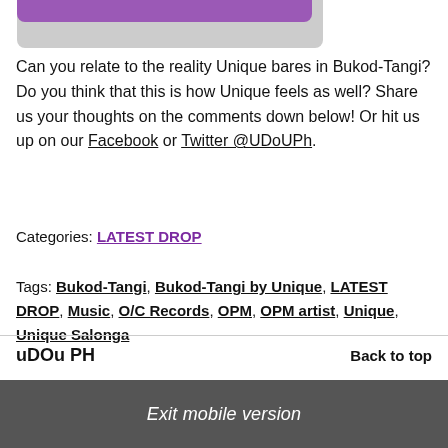[Figure (photo): Top image with purple and grey bar]
Can you relate to the reality Unique bares in Bukod-Tangi? Do you think that this is how Unique feels as well? Share us your thoughts on the comments down below! Or hit us up on our Facebook or Twitter @UDoUPh.
Categories: LATEST DROP
Tags: Bukod-Tangi, Bukod-Tangi by Unique, LATEST DROP, Music, O/C Records, OPM, OPM artist, Unique, Unique Salonga
uDOu PH
Back to top
Exit mobile version